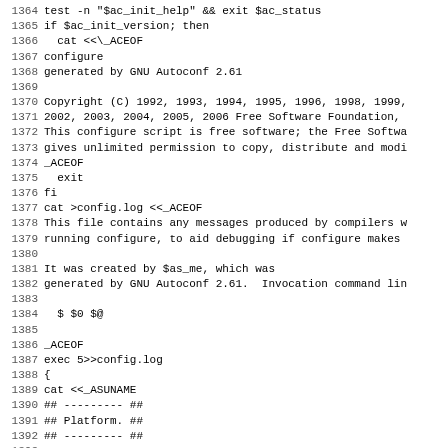Code listing lines 1364-1395, shell/autoconf script
1364 test -n "$ac_init_help" && exit $ac_status
1365 if $ac_init_version; then
1366   cat <<\_ACEOF
1367 configure
1368 generated by GNU Autoconf 2.61
1369
1370 Copyright (C) 1992, 1993, 1994, 1995, 1996, 1998, 1999,
1371 2002, 2003, 2004, 2005, 2006 Free Software Foundation,
1372 This configure script is free software; the Free Softwa
1373 gives unlimited permission to copy, distribute and modi
1374 _ACEOF
1375   exit
1376 fi
1377 cat >config.log <<_ACEOF
1378 This file contains any messages produced by compilers w
1379 running configure, to aid debugging if configure makes
1380
1381 It was created by $as_me, which was
1382 generated by GNU Autoconf 2.61.  Invocation command lin
1383
1384   $ $0 $@
1385
1386 _ACEOF
1387 exec 5>>config.log
1388 {
1389 cat <<_ASUNAME
1390 ## --------- ##
1391 ## Platform. ##
1392 ## --------- ##
1393
1394 hostname = `(hostname || uname -n) 2>/dev/null | sed 1c
1395 uname -m = `(uname -m) 2>/dev/null || echo unknown`